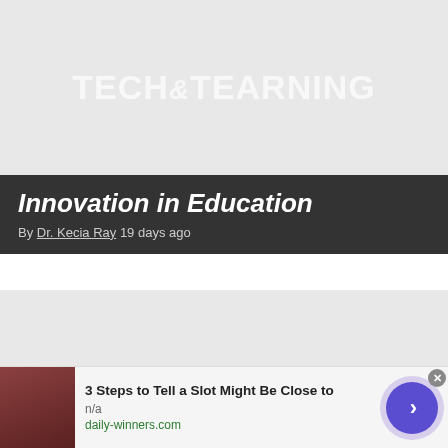[Figure (logo): Tech & Learning logo watermark on light grey background (top)]
Innovation in Education
By Dr. Kecia Ray 19 days ago
[Figure (logo): Tech & Learning logo watermark on light grey background (second card)]
CDC Loosens School COVID Guid…
[Figure (photo): Advertisement overlay: photo of older man, ad text '3 Steps to Tell a Slot Might Be Close to', source: daily-winners.com, with purple arrow button and close X]